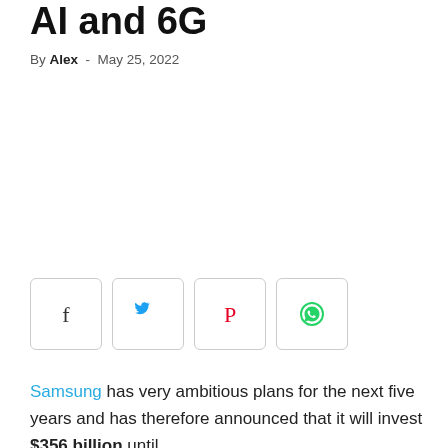AI and 6G
By Alex - May 25, 2022
[Figure (other): Social share buttons: Facebook, Twitter, Pinterest, WhatsApp]
Samsung has very ambitious plans for the next five years and has therefore announced that it will invest $356 billion until